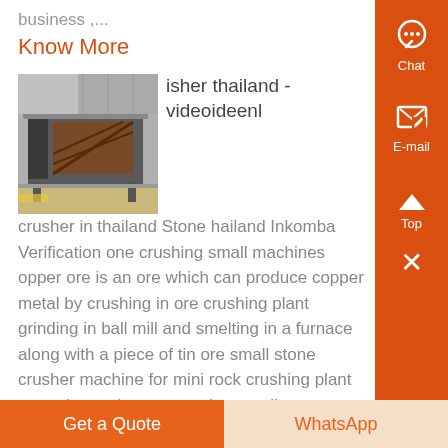business ,...
Know More
isher thailand - videoideenl
[Figure (photo): Industrial vibrating screen or stone crusher machine in a factory setting]
crusher in thailand Stone hailand Inkomba Verification one crushing small machines opper ore is an ore which can produce copper metal by crushing in ore crushing plant grinding in ball mill and smelting in a furnace along with a piece of tin ore small stone crusher machine for mini rock crushing plant operation rock stone crusher small ...
Know More